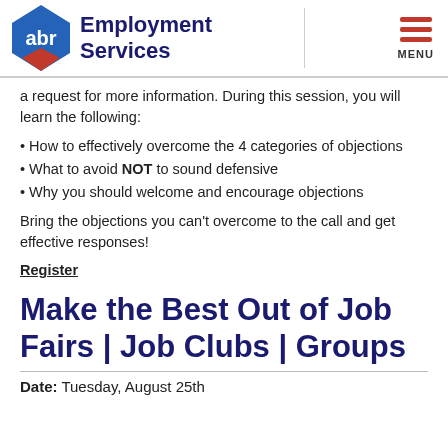[Figure (logo): ABR Employment Services logo with blue and red diamond shape and company name]
a request for more information. During this session, you will learn the following:
• How to effectively overcome the 4 categories of objections
• What to avoid NOT to sound defensive
• Why you should welcome and encourage objections
Bring the objections you can't overcome to the call and get effective responses!
Register
Make the Best Out of Job Fairs | Job Clubs | Groups
Date: Tuesday, August 25th